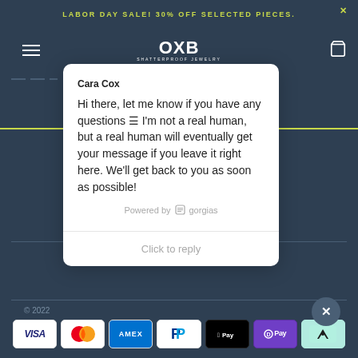LABOR DAY SALE! 30% OFF SELECTED PIECES.
[Figure (logo): OXB logo with tagline 'SHATTERPROOF JEWELRY']
Cara Cox
Hi there, let me know if you have any questions ≡ I'm not a real human, but a real human will eventually get your message if you leave it right here. We'll get back to you as soon as possible!
Powered by gorgias
Click to reply
© 2022
[Figure (infographic): Payment method icons: VISA, Mastercard, AMEX, PayPal, Apple Pay, O Pay, Afterpay]